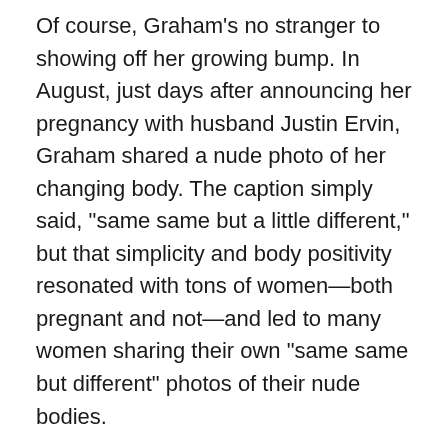Of course, Graham's no stranger to showing off her growing bump. In August, just days after announcing her pregnancy with husband Justin Ervin, Graham shared a nude photo of her changing body. The caption simply said, "same same but a little different," but that simplicity and body positivity resonated with tons of women—both pregnant and not—and led to many women sharing their own "same same but different" photos of their nude bodies.
Graham even went so far as to share many of the women's photos on her own site, celebrating their bodies as she had her own. The women—whether learning to accept their rapidly changing pregnant bodies, like Graham, or simply learning to love the bodies they were born with—all credited Graham as their inspiration.